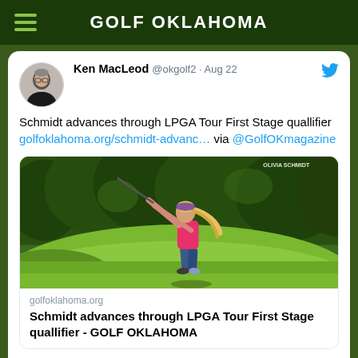GOLF OKLAHOMA
Ken MacLeod @okgolf2 · Aug 22
Schmidt advances through LPGA Tour First Stage quallifier golfoklahoma.org/schmidt-advanc… via @GolfOKmagazine
[Figure (screenshot): Photo of a female golfer in a pink top and navy shorts mid-swing on a golf course with green trees in background. Watermark reads OLIVIA SCHMIDT.]
golfoklahoma.org
Schmidt advances through LPGA Tour First Stage quallifier - GOLF OKLAHOMA
comment icon  ♡ 2